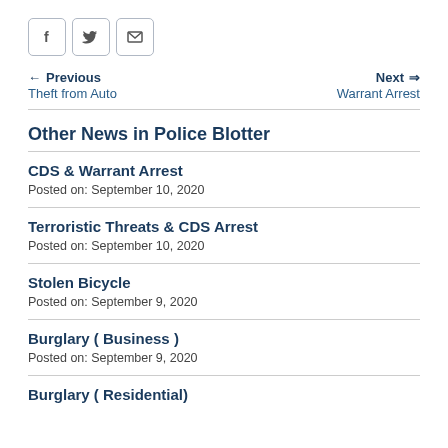[Figure (other): Social sharing buttons: Facebook, Twitter, Email]
← Previous
Theft from Auto
Next →
Warrant Arrest
Other News in Police Blotter
CDS & Warrant Arrest
Posted on: September 10, 2020
Terroristic Threats & CDS Arrest
Posted on: September 10, 2020
Stolen Bicycle
Posted on: September 9, 2020
Burglary ( Business )
Posted on: September 9, 2020
Burglary ( Residential)